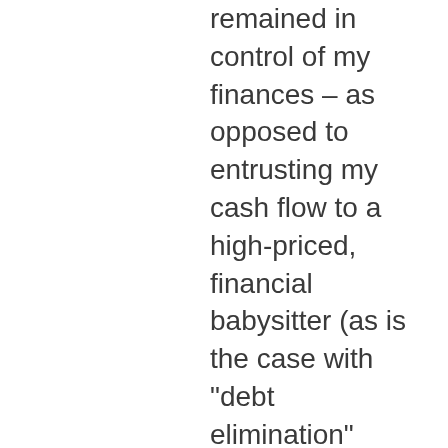remained in control of my finances – as opposed to entrusting my cash flow to a high-priced, financial babysitter (as is the case with "debt elimination" companies). I decided to purchase the ZipDebt program. I closely followed the advice presented by Mr. Phelan in the program; reading through and listening to information contained in the manual and on the audio CD's two or three times. Armed with my newfound knowledge, I formulated a "game plan" and went to work. Within a matter of weeks, I had my first settlement on the table – 25% of my outstanding balance! Yes folks – it can be done! After all the smoke cleared, I had negotiated